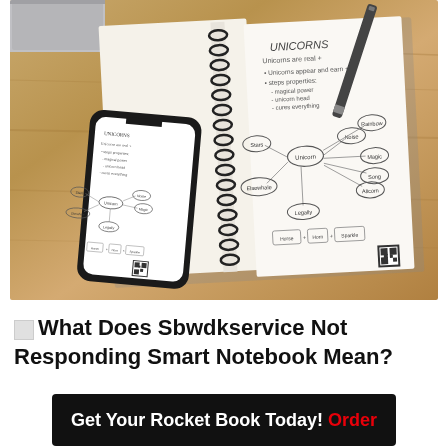[Figure (photo): Photo of an open Rocketbook smart notebook on a wooden desk alongside a smartphone displaying the same notes, a pen resting on the notebook, and a laptop corner visible. The notebook page shows handwritten notes about 'Unicorns' with a mind map diagram.]
What Does Sbwdkservice Not Responding Smart Notebook Mean?
Get Your Rocket Book Today! Order Now!